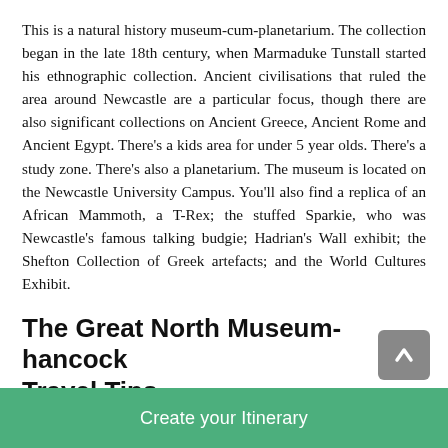This is a natural history museum-cum-planetarium. The collection began in the late 18th century, when Marmaduke Tunstall started his ethnographic collection. Ancient civilisations that ruled the area around Newcastle are a particular focus, though there are also significant collections on Ancient Greece, Ancient Rome and Ancient Egypt. There’s a kids area for under 5 year olds. There’s a study zone. There’s also a planetarium. The museum is located on the Newcastle University Campus. You’ll also find a replica of an African Mammoth, a T-Rex; the stuffed Sparkie, who was Newcastle’s famous talking budgie; Hadrian’s Wall exhibit; the Shefton Collection of Greek artefacts; and the World Cultures Exhibit.
The Great North Museum-hancock Travel Tips
No parking on site. Park on Claremont Road.
Create your Itinerary